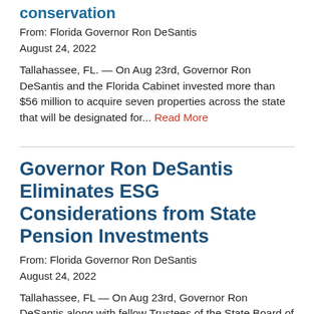conservation
From: Florida Governor Ron DeSantis
August 24, 2022
Tallahassee, FL. — On Aug 23rd, Governor Ron DeSantis and the Florida Cabinet invested more than $56 million to acquire seven properties across the state that will be designated for... Read More
Governor Ron DeSantis Eliminates ESG Considerations from State Pension Investments
From: Florida Governor Ron DeSantis
August 24, 2022
Tallahassee, FL — On Aug 23rd, Governor Ron DeSantis along with fellow Trustees of the State Board of Administration (SBA) passed a resolution directing the